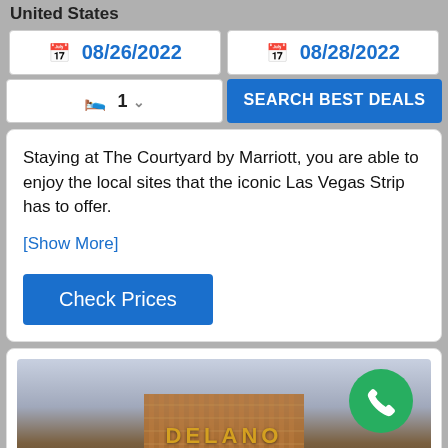United States
08/26/2022  08/28/2022
1 room  SEARCH BEST DEALS
Staying at The Courtyard by Marriott, you are able to enjoy the local sites that the iconic Las Vegas Strip has to offer.
[Show More]
Check Prices
[Figure (photo): Exterior photo of the Delano hotel building at dusk, showing gold/bronze glass facade with DELANO signage]